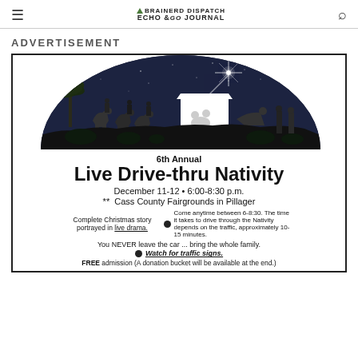Brainerd Dispatch Echo Journal
ADVERTISEMENT
[Figure (illustration): Nativity scene silhouette in a semicircle with a starry night sky, showing the manger, three wise men on camels, and other figures in a dark grayscale scene with a bright star above.]
6th Annual Live Drive-thru Nativity
December 11-12 • 6:00-8:30 p.m.
** Cass County Fairgrounds in Pillager
Complete Christmas story portrayed in live drama.
Come anytime between 6-8:30. The time it takes to drive through the Nativity depends on the traffic, approximately 10-15 minutes.
You NEVER leave the car ... bring the whole family.
Watch for traffic signs.
FREE admission (A donation bucket will be available at the end.)